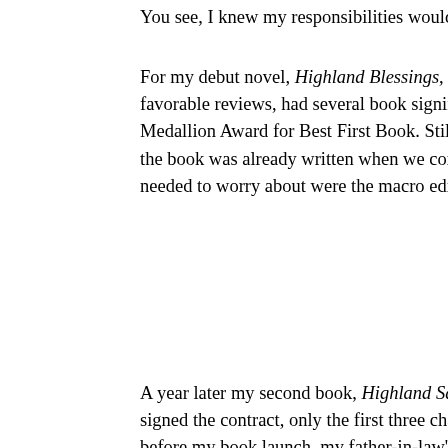You see, I knew my responsibilities would grow, and I w
For my debut novel, Highland Blessings, my book laun favorable reviews, had several book signings, and it wo Medallion Award for Best First Book. Still, I didn't hav the book was already written when we contracted it. Th needed to worry about were the macro edits and copy e
A year later my second book, Highland Sanctuary, was signed the contract, only the first three chapters were w before my book launch, my father-in-law's health begar dying of lung cancer. At about the same time, we learne very aggressive breast cancer. While Hospice came in t my mother was going through surgery and a month late treatments.
Two weeks before my book released, my father-in-law p was grieving, and I still worried for my mother. By this